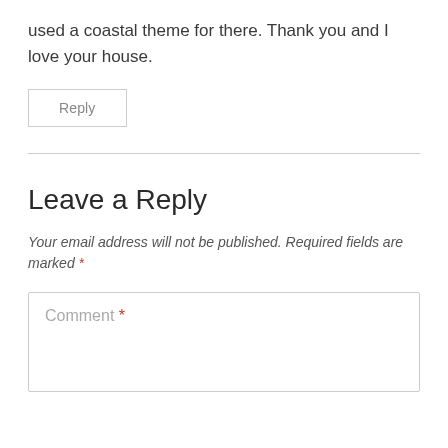used a coastal theme for there. Thank you and I love your house.
Reply
Leave a Reply
Your email address will not be published. Required fields are marked *
Comment *